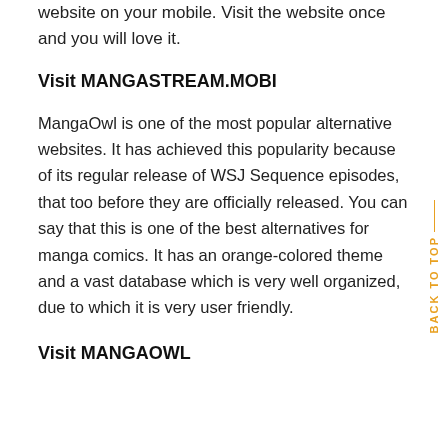website on your mobile. Visit the website once and you will love it.
Visit MANGASTREAM.MOBI
MangaOwl is one of the most popular alternative websites. It has achieved this popularity because of its regular release of WSJ Sequence episodes, that too before they are officially released. You can say that this is one of the best alternatives for manga comics. It has an orange-colored theme and a vast database which is very well organized, due to which it is very user friendly.
Visit MANGAOWL